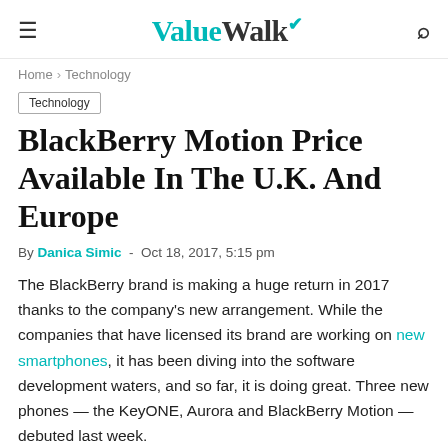ValueWalk
Home > Technology
Technology
BlackBerry Motion Price Available In The U.K. And Europe
By Danica Simic - Oct 18, 2017, 5:15 pm
The BlackBerry brand is making a huge return in 2017 thanks to the company's new arrangement. While the companies that have licensed its brand are working on new smartphones, it has been diving into the software development waters, and so far, it is doing great. Three new phones — the KeyONE, Aurora and BlackBerry Motion — debuted last week.